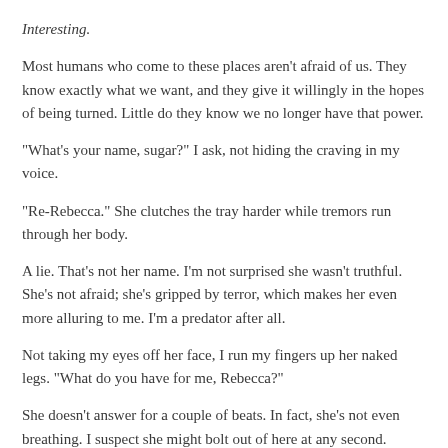Interesting.
Most humans who come to these places aren't afraid of us. They know exactly what we want, and they give it willingly in the hopes of being turned. Little do they know we no longer have that power.
“What’s your name, sugar?” I ask, not hiding the craving in my voice.
“Re-Rebecca.” She clutches the tray harder while tremors run through her body.
A lie. That’s not her name. I’m not surprised she wasn’t truthful. She’s not afraid; she’s gripped by terror, which makes her even more alluring to me. I’m a predator after all.
Not taking my eyes off her face, I run my fingers up her naked legs. “What do you have for me, Rebecca?”
She doesn’t answer for a couple of beats. In fact, she’s not even breathing. I suspect she might bolt out of here at any second.